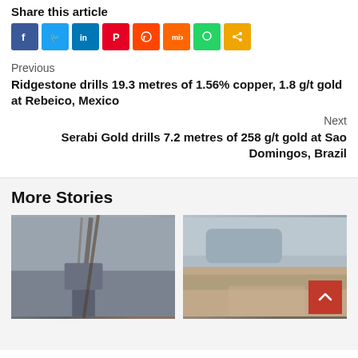Share this article
[Figure (infographic): Row of social media share buttons: Facebook (blue), Twitter (light blue), LinkedIn (dark blue), Pinterest (red), Reddit (orange-red), Mix (orange), WhatsApp (green), Share (amber)]
Previous
Ridgestone drills 19.3 metres of 1.56% copper, 1.8 g/t gold at Rebeico, Mexico
Next
Serabi Gold drills 7.2 metres of 258 g/t gold at Sao Domingos, Brazil
More Stories
[Figure (photo): Photo of a drilling rig in a grey, overcast outdoor setting]
[Figure (photo): Photo of an open pit mine with mountains and water in the background. Red scroll-to-top button overlaid in lower right.]